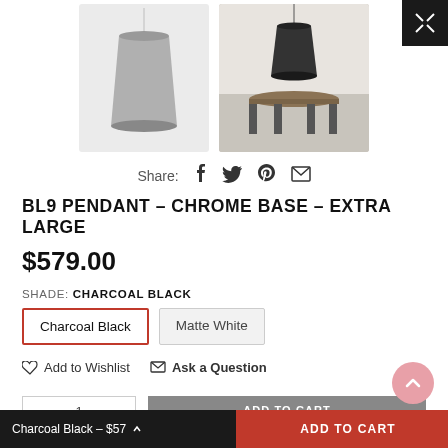[Figure (photo): Product thumbnail images of BL9 Pendant lamp - one gray lamp on white background, one scene with black lamp over dining table]
Share:  f  t  P  ✉
BL9 PENDANT – CHROME BASE – EXTRA LARGE
$579.00
SHADE: CHARCOAL BLACK
Charcoal Black  |  Matte White
♡ Add to Wishlist   ✉ Ask a Question
Charcoal Black – $57  ▲
ADD TO CART